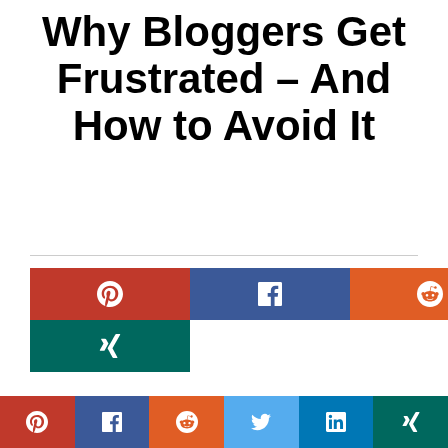Why Bloggers Get Frustrated – And How to Avoid It
[Figure (infographic): Social sharing buttons row: Pinterest (red), Facebook (dark blue), Reddit (orange), Twitter (light blue), LinkedIn (blue), Xing (teal)]
Have you ever wondered why bloggers keep constantly sharing how they blog? Most bloggers end up writing about their blogging schedule, their weekly tasks, their time management systems and their workflows. You
[Figure (infographic): Bottom social sharing bar: Pinterest, Facebook, Reddit, Twitter, LinkedIn, Xing]